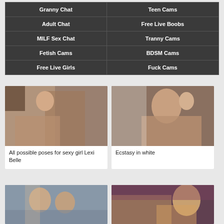| Granny Chat | Teen Cams |
| Adult Chat | Free Live Boobs |
| MILF Sex Chat | Tranny Cams |
| Fetish Cams | BDSM Cams |
| Free Live Girls | Fuck Cams |
[Figure (photo): Thumbnail image of two people in sexual pose]
All possible poses for sexy girl Lexi Belle
[Figure (photo): Thumbnail image of woman in white performing oral sex]
Ecstasy in white
[Figure (photo): Thumbnail image of two women in sexual scene]
[Figure (photo): Thumbnail image of woman in black and gold performing oral sex]